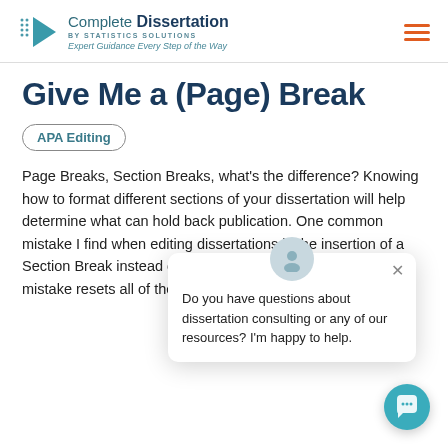Complete Dissertation BY STATISTICS SOLUTIONS Expert Guidance Every Step of the Way
Give Me a (Page) Break
APA Editing
[Figure (screenshot): Chat popup widget with avatar icon and message: 'Do you have questions about dissertation consulting or any of our resources? I'm happy to help.']
Page Breaks, Section Breaks, what's the difference? Knowing how to format different sections of your dissertation will help determine what can hold back publication. One common mistake I find when editing dissertations is the insertion of a Section Break instead of a Page Break. This simple mistake resets all of the formatting for the following